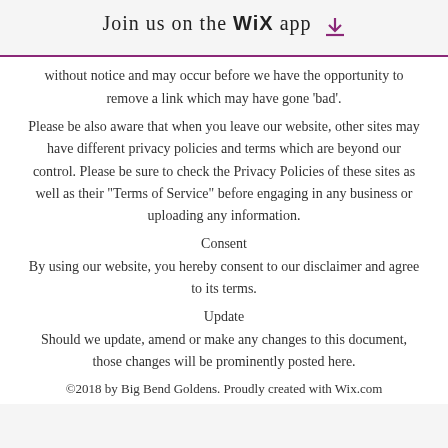Join us on the WiX app
without notice and may occur before we have the opportunity to remove a link which may have gone 'bad'.
Please be also aware that when you leave our website, other sites may have different privacy policies and terms which are beyond our control. Please be sure to check the Privacy Policies of these sites as well as their "Terms of Service" before engaging in any business or uploading any information.
Consent
By using our website, you hereby consent to our disclaimer and agree to its terms.
Update
Should we update, amend or make any changes to this document, those changes will be prominently posted here.
©2018 by Big Bend Goldens. Proudly created with Wix.com